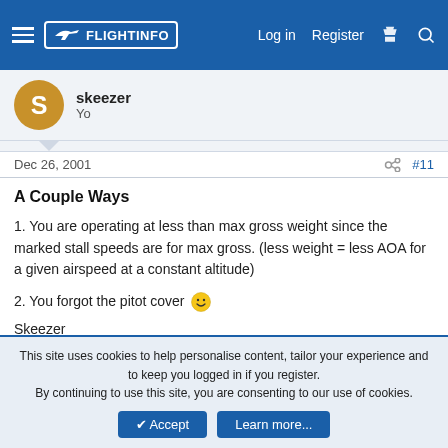FlightInfo — Log in | Register
skeezer
Yo
Dec 26, 2001  #11
A Couple Ways
1. You are operating at less than max gross weight since the marked stall speeds are for max gross. (less weight = less AOA for a given airspeed at a constant altitude)
2. You forgot the pitot cover 🙂
Skeezer
This site uses cookies to help personalise content, tailor your experience and to keep you logged in if you register.
By continuing to use this site, you are consenting to our use of cookies.
✔ Accept | Learn more...